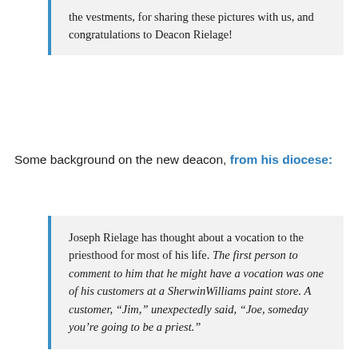the vestments, for sharing these pictures with us, and congratulations to Deacon Rielage!
Some background on the new deacon, from his diocese:
Joseph Rielage has thought about a vocation to the priesthood for most of his life. The first person to comment to him that he might have a vocation was one of his customers at a SherwinWilliams paint store. A customer, “Jim,” unexpectedly said, “Joe, someday you’re going to be a priest.”